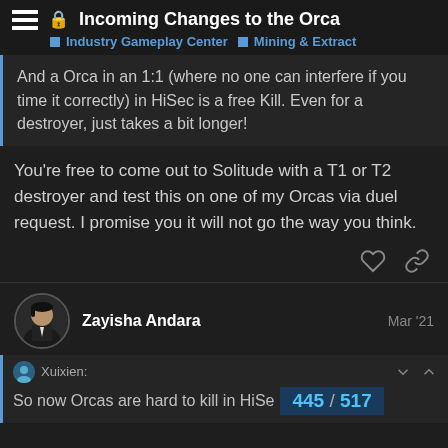Incoming Changes to the Orca | Industry Gameplay Center | Mining & Extract
And a Orca in an 1:1 (where no one can interfere if you time it correctly) in HiSec is a free Kill. Even for a destroyer, just takes a bit longer!
You're free to come out to Solitude with a T1 or T2 destroyer and test this on one of my Orcas via duel request. I promise you it will not go the way you think.
Zayisha Andara  Mar '21
Xuixien:
So now Orcas are hard to kill in HiSe  445 / 517